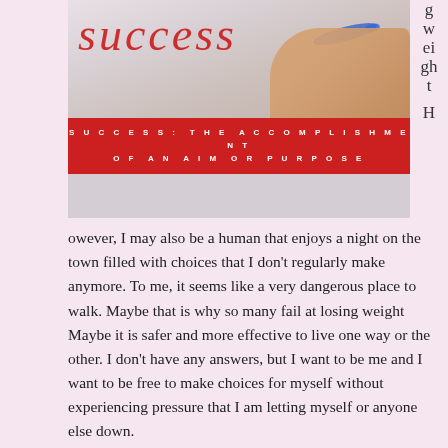[Figure (photo): Image of a hand writing the word 'success' in red cursive with a blue pen, over a white background. Below the photo is a red banner with white text reading: SUCCESS: THE ACCOMPLISHMENT OF AN AIM OR PURPOSE]
g weight H
However, I may also be a human that enjoys a night on the town filled with choices that I don't regularly make anymore.  To me, it seems like a very dangerous place to walk.  Maybe that is why so many fail at losing weight  Maybe it is safer and more effective to live one way or the other.  I don't have any answers, but I want to be me and I want to be free to make choices for myself without experiencing pressure that I am letting myself or anyone else down.
For now, though, it's back to taking my life back...